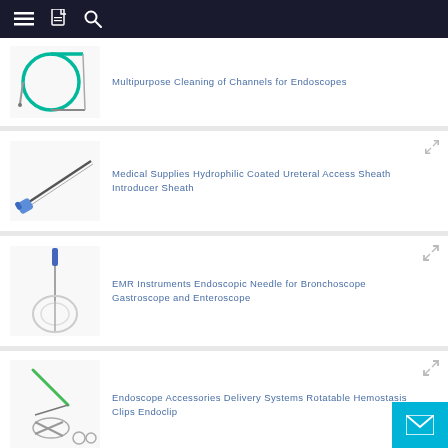Navigation bar with menu, document, and search icons
Multipurpose Cleaning of Channels for Endoscopes
Medical Supplies Hydrophilic Coated Ureteral Access Sheath Introducer Sheath
EMR Instruments Endoscopic Needle for Bronchoscope Gastroscope and Enteroscope
Endoscope Accessories Delivery Systems Rotatable Hemostasis Clips Endoclip
Medical Gastric Endoscope Biopsy Forceps